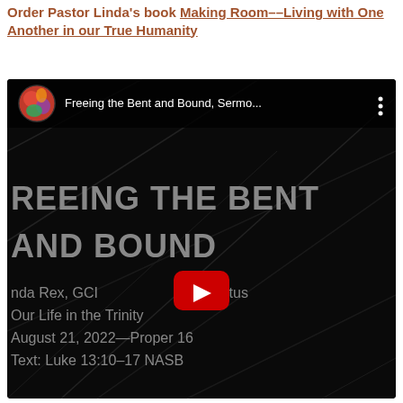Order Pastor Linda's book Making Room––Living with One Another in our True Humanity
[Figure (screenshot): YouTube video embed thumbnail showing 'Freeing the Bent and Bound, Sermon...' with channel avatar, title bar, three-dots menu, and large play button overlay. Video content shows text: FREEING THE BENT AND BOUND, Linda Rex, GCI Pastor Emeritus, Our Life in the Trinity, August 21, 2022—Proper 16, Text: Luke 13:10-17 NASB]